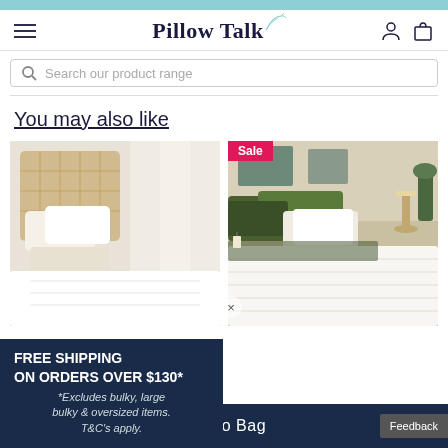Pillow Talk
Search our product range
You may also like
[Figure (photo): Bed with white pillows and duvet, natural rattan headboard]
[Figure (photo): Bed with olive green and white bedding, sale badge]
FREE SHIPPING ON ORDERS OVER $130* *Excludes bulky, large bulky & oversized items. T&C's apply.
Add to Bag
Feedback